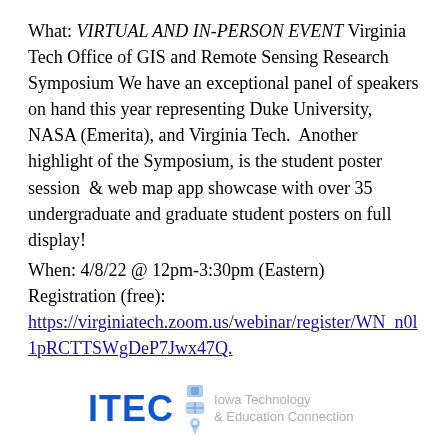What: VIRTUAL AND IN-PERSON EVENT Virginia Tech Office of GIS and Remote Sensing Research Symposium We have an exceptional panel of speakers on hand this year representing Duke University, NASA (Emerita), and Virginia Tech.  Another highlight of the Symposium, is the student poster session  & web map app showcase with over 35 undergraduate and graduate student posters on full display!
When: 4/8/22 @ 12pm-3:30pm (Eastern)
Registration (free):
https://virginiatech.zoom.us/webinar/register/WN_n0l1pRCTTSWgDeP7Jwx47Q.
[Figure (logo): ITEC Iowa Technology & Education Connection logo with icon]
What: VIRTUAL AND IN-PERSON EVENT Iowa Technology and Education Connection (ITEC)